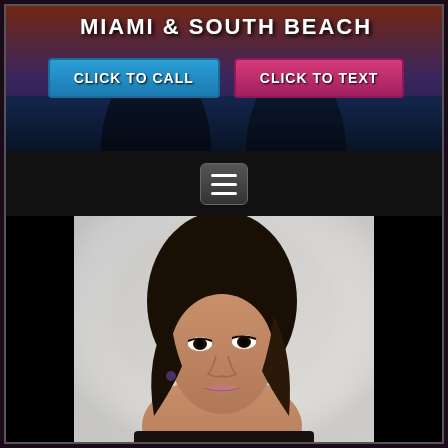MIAMI & SOUTH BEACH
CLICK TO CALL
CLICK TO TEXT
[Figure (other): Hamburger menu icon button with three horizontal white lines on a dark rounded rectangle background]
[Figure (photo): Portrait photo of a young woman with long dark brown hair, wearing a black top, looking slightly upward, soft light background]